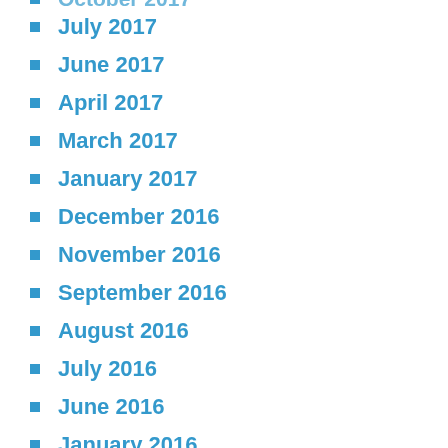October 2017
July 2017
June 2017
April 2017
March 2017
January 2017
December 2016
November 2016
September 2016
August 2016
July 2016
June 2016
January 2016
December 2015
November 2015
September 2015
August 2015
July 2015
June 2015
May 2015
April 2015
March 2015